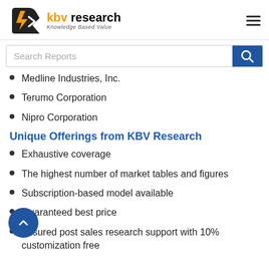KBV Research - Knowledge Based Value
Medline Industries, Inc.
Terumo Corporation
Nipro Corporation
Unique Offerings from KBV Research
Exhaustive coverage
The highest number of market tables and figures
Subscription-based model available
Guaranteed best price
Assured post sales research support with 10% customization free